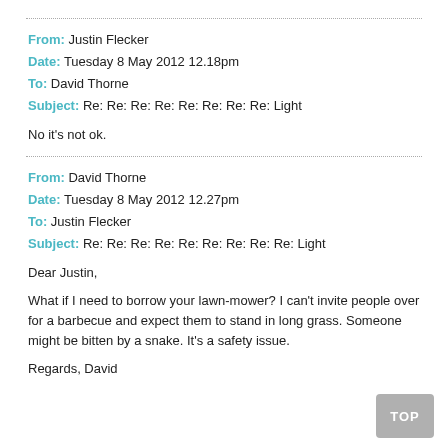From: Justin Flecker
Date: Tuesday 8 May 2012 12.18pm
To: David Thorne
Subject: Re: Re: Re: Re: Re: Re: Re: Re: Light
No it's not ok.
From: David Thorne
Date: Tuesday 8 May 2012 12.27pm
To: Justin Flecker
Subject: Re: Re: Re: Re: Re: Re: Re: Re: Re: Light
Dear Justin,

What if I need to borrow your lawn-mower? I can't invite people over for a barbecue and expect them to stand in long grass. Someone might be bitten by a snake. It's a safety issue.

Regards, David